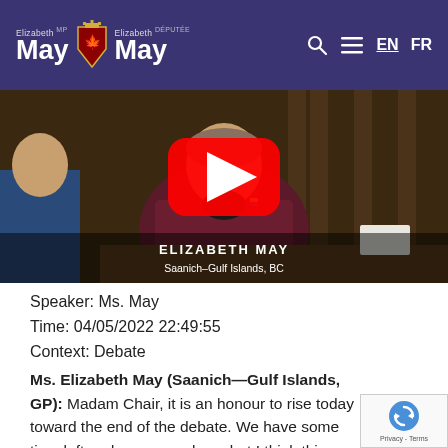Elizabeth May MP | Elizabeth May DÉPUTÉE — EN FR
[Figure (screenshot): YouTube video thumbnail showing Elizabeth May seated at a desk, with a red YouTube play button overlay. Caption text reads: ELIZABETH MAY / Saanich–Gulf Islands, BC]
Speaker: Ms. May
Time: 04/05/2022 22:49:55
Context: Debate
Ms. Elizabeth May (Saanich—Gulf Islands, GP): Madam Chair, it is an honour to rise today toward the end of the debate. We have some time left and more speakers, but I think this take-note debate has been one of sincerity and has been heartfelt. I think